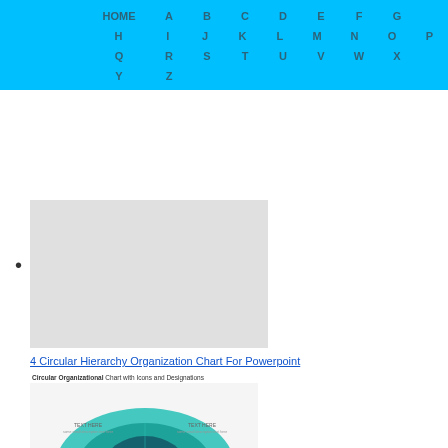HOME A B C D E F G H I J K L M N O P Q R S T U V W X Y Z
[Figure (screenshot): Thumbnail/preview image placeholder (gray rectangle)]
4 Circular Hierarchy Organization Chart For Powerpoint
Circular Organizational Chart with Icons and Designations
[Figure (organizational-chart): Circular organizational chart with icons and designations showing a hierarchy in teal/green concentric oval shapes with person icons and text labels]